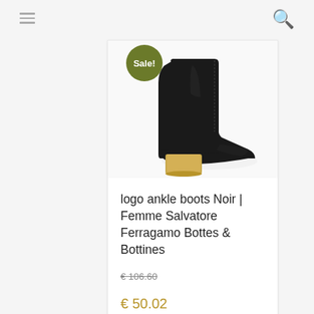[Figure (screenshot): Mobile e-commerce product listing page showing a black leather ankle boot with gold block heel from Salvatore Ferragamo, with a green 'Sale!' badge overlay on the product image.]
logo ankle boots Noir | Femme Salvatore Ferragamo Bottes & Bottines
€ 106.60
€ 50.02